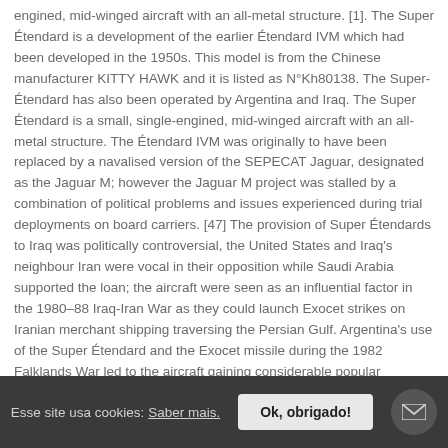engined, mid-winged aircraft with an all-metal structure. [1]. The Super Étendard is a development of the earlier Étendard IVM which had been developed in the 1950s. This model is from the Chinese manufacturer KITTY HAWK and it is listed as N°Kh80138. The Super-Étendard has also been operated by Argentina and Iraq. The Super Étendard is a small, single-engined, mid-winged aircraft with an all-metal structure. The Étendard IVM was originally to have been replaced by a navalised version of the SEPECAT Jaguar, designated as the Jaguar M; however the Jaguar M project was stalled by a combination of political problems and issues experienced during trial deployments on board carriers. [47] The provision of Super Étendards to Iraq was politically controversial, the United States and Iraq's neighbour Iran were vocal in their opposition while Saudi Arabia supported the loan; the aircraft were seen as an influential factor in the 1980–88 Iraq-Iran War as they could launch Exocet strikes on Iranian merchant shipping traversing the Persian Gulf. Argentina's use of the Super Étendard and the Exocet missile during the 1982 Falklands War led to the aircraft gaining considerable popular recognition. Trong thời gian diễn ra Chiến tranh Falklands, các máy bay Super Etendard đã xuất kích 580 lần và không một máy bay nào bị phá hủy.) Dassault-
Esse site usa cookies: Saber mais.   Ok, obrigado!